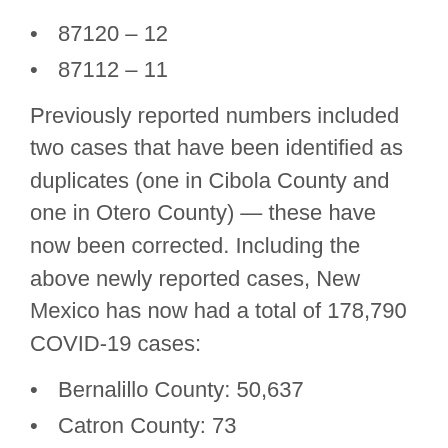87120 – 12
87112 – 11
Previously reported numbers included two cases that have been identified as duplicates (one in Cibola County and one in Otero County) — these have now been corrected. Including the above newly reported cases, New Mexico has now had a total of 178,790 COVID-19 cases:
Bernalillo County: 50,637
Catron County: 73
Chaves County: 8,367
Cibola County: 2,658
Colfax County: 682
Curry County: 4,805